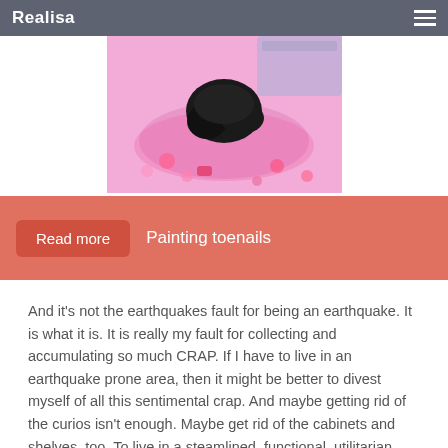Realisa
[Figure (photo): Photo of a person lying face down on a pink floral patterned fabric/bed, with dark hair spread out, pink background.]
Read more   Painting toenails
And it's not the earthquakes fault for being an earthquake. It is what it is. It is really my fault for collecting and accumulating so much CRAP. If I have to live in an earthquake prone area, then it might be better to divest myself of all this sentimental crap. And maybe getting rid of the curios isn't enough. Maybe get rid of the cabinets and shelves, too. To live in a steamlined, functional, utilitarian space leaves less to get shattered or destroyed. And like Jennifer.....the Big Tidy Up required a really big box and trip to the dump. You have to throw stuff away and give up on it. It's not worth